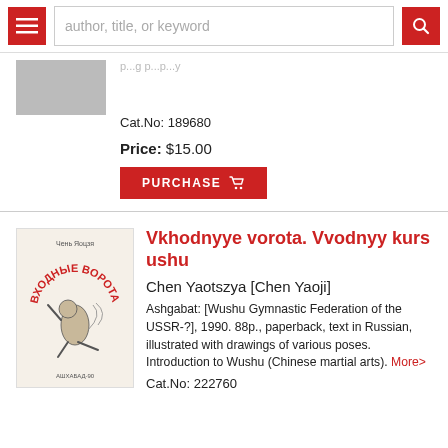author, title, or keyword
Cat.No: 189680
Price: $15.00
PURCHASE
Vkhodnyye vorota. Vvodnyy kurs ushu
Chen Yaotszya [Chen Yaoji]
Ashgabat: [Wushu Gymnastic Federation of the USSR-?], 1990. 88p., paperback, text in Russian, illustrated with drawings of various poses. Introduction to Wushu (Chinese martial arts). More>
Cat.No: 222760